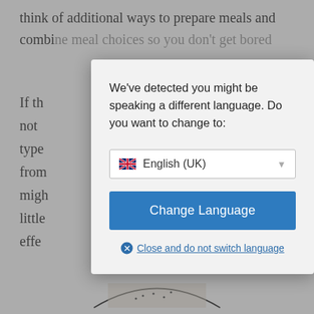think of additional ways to prepare meals and combine meal choices so you don't get bored
If the... have not... ther type... a lot from... you migh... rd a little... itive effe...
[Figure (screenshot): A language-switch modal dialog box overlaid on a webpage. The dialog reads: 'We've detected you might be speaking a different language. Do you want to change to:' with a dropdown showing 'English (UK)' with a UK flag, a blue 'Change Language' button, and a 'Close and do not switch language' link with an X icon.]
How... Weight Loss Tips?